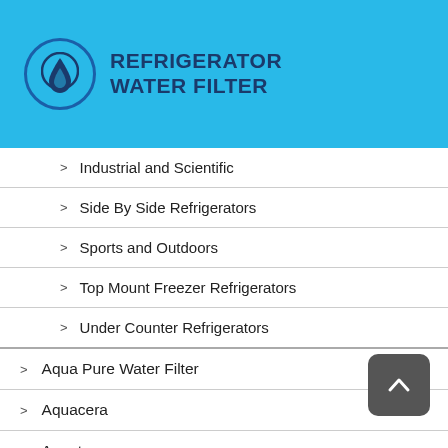REFRIGERATOR WATER FILTER
Industrial and Scientific
Side By Side Refrigerators
Sports and Outdoors
Top Mount Freezer Refrigerators
Under Counter Refrigerators
Aqua Pure Water Filter
Aquacera
Aquatec
Aries